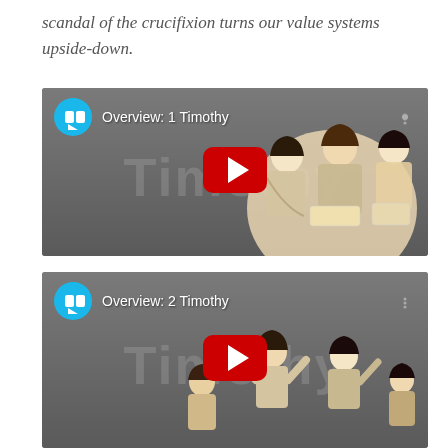scandal of the crucifixion turns our value systems upside-down.
[Figure (screenshot): YouTube video thumbnail for 'Overview: 1 Timothy' — BibleProject style with blue icon, play button, and illustrated figures of people in ancient dress]
[Figure (screenshot): YouTube video thumbnail for 'Overview: 2 Timothy' — BibleProject style with blue icon, play button, and illustrated figures of people with raised arms in ancient dress]